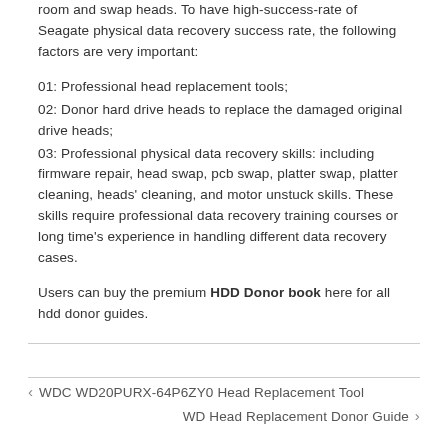room and swap heads. To have high-success-rate of Seagate physical data recovery success rate, the following factors are very important:
01: Professional head replacement tools;
02: Donor hard drive heads to replace the damaged original drive heads;
03: Professional physical data recovery skills: including firmware repair, head swap, pcb swap, platter swap, platter cleaning, heads' cleaning, and motor unstuck skills. These skills require professional data recovery training courses or long time's experience in handling different data recovery cases.
Users can buy the premium HDD Donor book here for all hdd donor guides.
WDC WD20PURX-64P6ZY0 Head Replacement Tool | WD Head Replacement Donor Guide